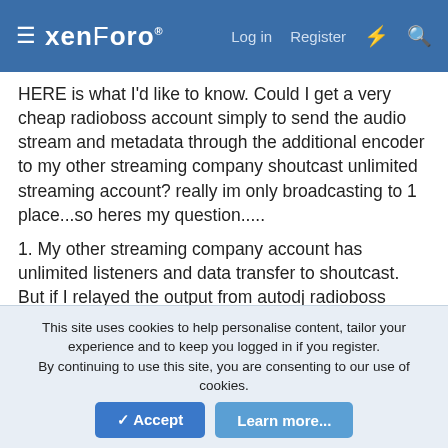xenForo  Log in  Register
HERE is what I'd like to know. Could I get a very cheap radioboss account simply to send the audio stream and metadata through the additional encoder to my other streaming company shoutcast unlimited streaming account? really im only broadcasting to 1 place...so heres my question.....
1. My other streaming company account has unlimited listeners and data transfer to shoutcast. But if I relayed the output from autodj radioboss cloud through additional ecoder to my other streaming company account, would I be limited by for example in the 12 dollar radiocloud account to "1 TB data transfer" simply from my stream leaving radiocloud and going to my other streaming company account, OR if I have th ousands of listeners tuning in from shoutcast with this setup and their demand is more than 1 TB a month,  even though thats fine with
This site uses cookies to help personalise content, tailor your experience and to keep you logged in if you register.
By continuing to use this site, you are consenting to our use of cookies.